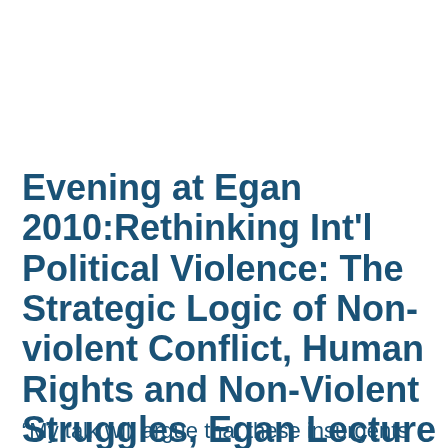Evening at Egan 2010:Rethinking Int'l Political Violence: The Strategic Logic of Non-violent Conflict, Human Rights and Non-Violent Struggles, Egan Lecture Hall, Friday, October 8, 7:00 p.m.
“My talk will argue that these insurgents